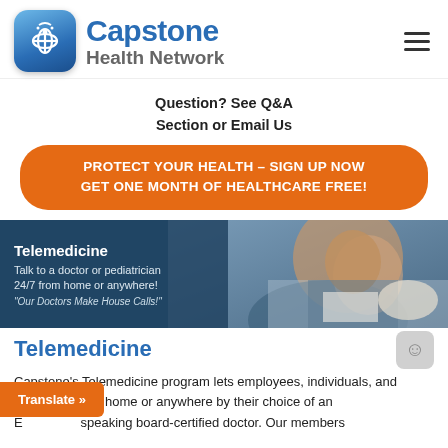[Figure (logo): Capstone Health Network logo with caduceus icon in blue rounded square]
Question? See Q&A
Section or Email Us
PROTECT YOUR HEALTH – SIGN UP NOW
GET ONE MONTH OF HEALTHCARE FREE!
[Figure (photo): Telemedicine banner image showing child blowing nose with text overlay: Telemedicine, Talk to a doctor or pediatrician 24/7 from home or anywhere! 'Our Doctors Make House Calls!']
Telemedicine
Capstone's Telemedicine program lets employees, individuals, and f... from home or anywhere by their choice of an E... speaking board-certified doctor. Our members